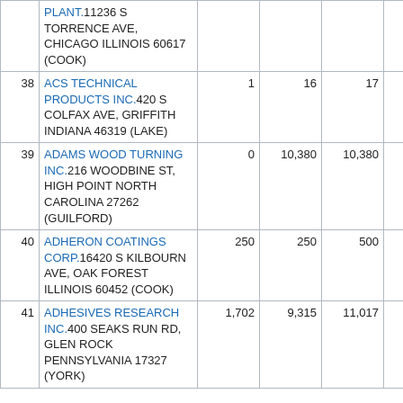| # | Facility | Col3 | Col4 | Col5 | Col6 |
| --- | --- | --- | --- | --- | --- |
|  | PLANT.11236 S TORRENCE AVE, CHICAGO ILLINOIS 60617 (COOK) |  |  |  |  |
| 38 | ACS TECHNICAL PRODUCTS INC.420 S COLFAX AVE, GRIFFITH INDIANA 46319 (LAKE) | 1 | 16 | 17 | 0 |
| 39 | ADAMS WOOD TURNING INC.216 WOODBINE ST, HIGH POINT NORTH CAROLINA 27262 (GUILFORD) | 0 | 10,380 | 10,380 | 0 |
| 40 | ADHERON COATINGS CORP.16420 S KILBOURN AVE, OAK FOREST ILLINOIS 60452 (COOK) | 250 | 250 | 500 | 0 |
| 41 | ADHESIVES RESEARCH INC.400 SEAKS RUN RD, GLEN ROCK PENNSYLVANIA 17327 (YORK) | 1,702 | 9,315 | 11,017 | 0 |